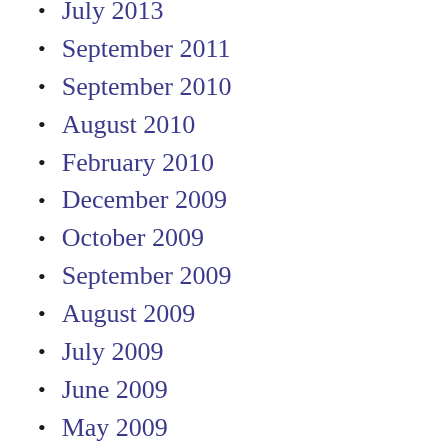July 2013
September 2011
September 2010
August 2010
February 2010
December 2009
October 2009
September 2009
August 2009
July 2009
June 2009
May 2009
April 2009
February 2009
January 2009
December 2008
November 2008